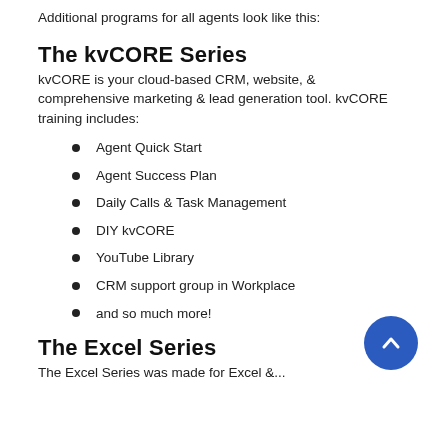Additional programs for all agents look like this:
The kvCORE Series
kvCORE is your cloud-based CRM, website, & comprehensive marketing & lead generation tool. kvCORE training includes:
Agent Quick Start
Agent Success Plan
Daily Calls & Task Management
DIY kvCORE
YouTube Library
CRM support group in Workplace
and so much more!
The Excel Series
The Excel Series was made for Excel &...